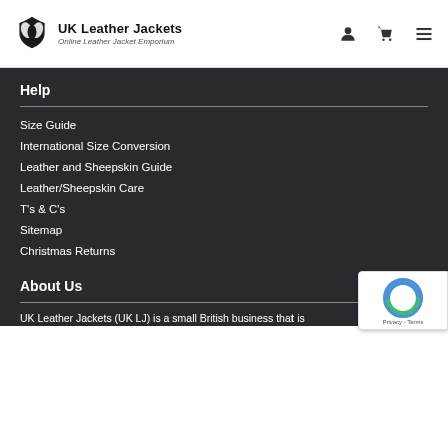UK Leather Jackets — Online Leather Jacket Emporium
Help
Size Guide
International Size Conversion
Leather and Sheepskin Guide
Leather/Sheepskin Care
T's & C's
Sitemap
Christmas Returns
About Us
UK Leather Jackets (UK LJ) is a small British business that is ...